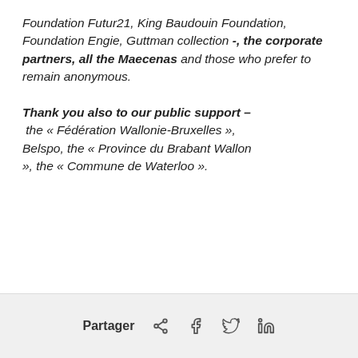Foundation Futur21, King Baudouin Foundation, Foundation Engie, Guttman collection -, the corporate partners, all the Maecenas and those who prefer to remain anonymous.
Thank you also to our public support – the « Fédération Wallonie-Bruxelles », Belspo, the « Province du Brabant Wallon », the « Commune de Waterloo ».
Partager